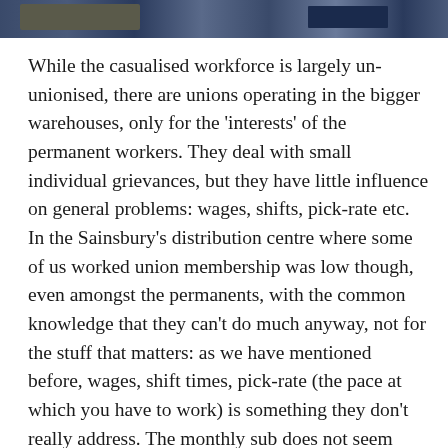[Figure (photo): Partial photograph at top of page, appears to show a warehouse or storage environment with blue/dark tones]
While the casualised workforce is largely un-unionised, there are unions operating in the bigger warehouses, only for the 'interests' of the permanent workers. They deal with small individual grievances, but they have little influence on general problems: wages, shifts, pick-rate etc. In the Sainsbury's distribution centre where some of us worked union membership was low though, even amongst the permanents, with the common knowledge that they can't do much anyway, not for the stuff that matters: as we have mentioned before, wages, shift times, pick-rate (the pace at which you have to work) is something they don't really address. The monthly sub does not seem worth it to many. The unions don't do much about the division between the permanent and